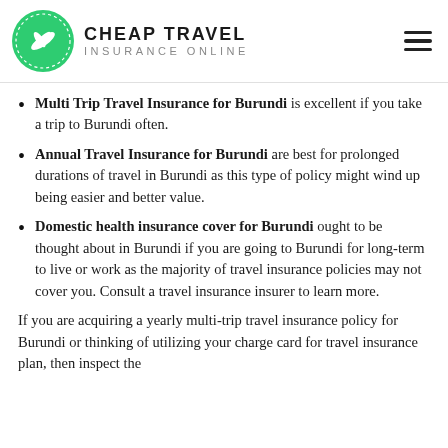[Figure (logo): Cheap Travel Insurance Online logo — green circle with white airplane silhouette, bold uppercase brand name and subtitle]
Multi Trip Travel Insurance for Burundi is excellent if you take a trip to Burundi often.
Annual Travel Insurance for Burundi are best for prolonged durations of travel in Burundi as this type of policy might wind up being easier and better value.
Domestic health insurance cover for Burundi ought to be thought about in Burundi if you are going to Burundi for long-term to live or work as the majority of travel insurance policies may not cover you. Consult a travel insurance insurer to learn more.
If you are acquiring a yearly multi-trip travel insurance policy for Burundi or thinking of utilizing your charge card for travel insurance plan, then inspect the